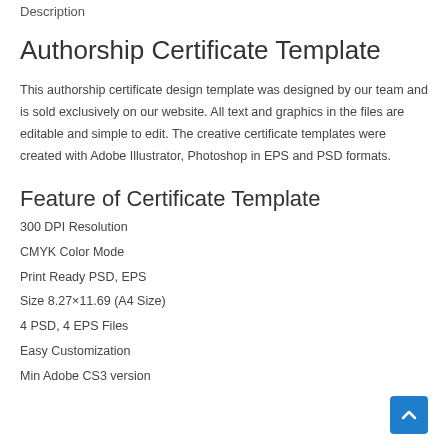Description
Authorship Certificate Template
This authorship certificate design template was designed by our team and is sold exclusively on our website. All text and graphics in the files are editable and simple to edit. The creative certificate templates were created with Adobe Illustrator, Photoshop in EPS and PSD formats.
Feature of Certificate Template
300 DPI Resolution
CMYK Color Mode
Print Ready PSD, EPS
Size 8.27×11.69 (A4 Size)
4 PSD, 4 EPS Files
Easy Customization
Min Adobe CS3 version